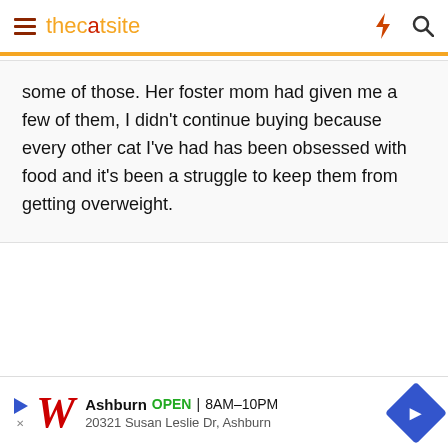thecatsite
some of those. Her foster mom had given me a few of them, I didn't continue buying because every other cat I've had has been obsessed with food and it's been a struggle to keep them from getting overweight.
[Figure (other): Walgreens advertisement banner: Ashburn OPEN 8AM-10PM, 20321 Susan Leslie Dr, Ashburn]